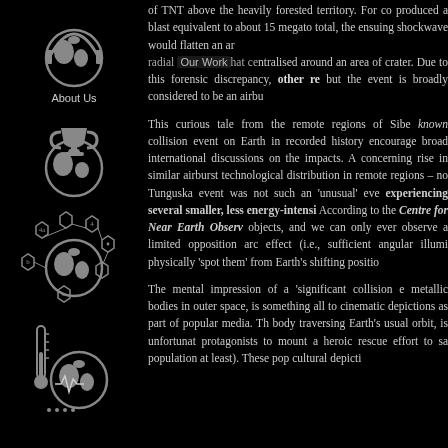[Figure (illustration): Globe with arch icon and 'About Us' label]
[Figure (illustration): Globe with trophy/key icon]
[Figure (illustration): Globe with hexagonal network/molecule overlay]
[Figure (illustration): Globe with thermometer icon]
of TNT above the heavily forested territory. For co produced a blast equivalent to about 15 megato total, the ensuing shockwave would flatten an ar radial Our Work hat centralised around an area of crater. Due to this forensic discrepancy, other re but the event is broadly considered to be an airbu
This curious tale from the remote regions of Sibe known collision event on Earth in recorded history encourage broad international discussions on the impacts. A concerning rise in similar airburst technological distribution in remote regions – no Tunguska event was not such an 'unusual' eve experiencing several smaller, less energy-intensi According to the Centre for Near Earth Observ objects, and we can only ever observe a limited opposition arc effect (i.e., sufficient angular illumi physically 'spot them' from Earth's shifting positio
The mental impression of a 'significant collision e metallic bodies in outer space, is something all to cinematic depictions as part of popular media. Th body traversing Earth's usual orbit, is unfortunat protagonists to mount a heroic rescue effort to sa population at least). These pop cultural depicti